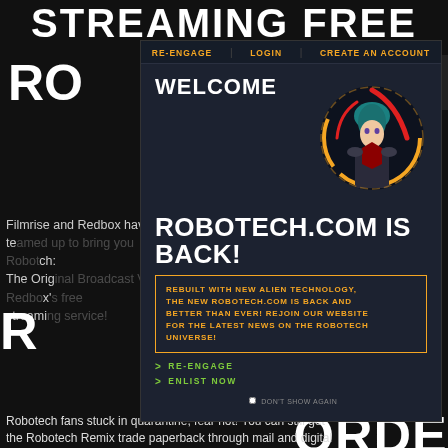STREAMING FREE ON
[Figure (screenshot): Robotech.com website screenshot showing logo and navigation in dark theme]
Filmrise and Redbox have teamed up to bring you Robotech: The Original Broadcast Version on Redbox's free streaming service!
[Figure (screenshot): Website modal popup with welcome screen showing anime character and site relaunch announcement]
WELCOME
ROBOTECH.COM IS BACK!
REBUILT WITH NEW ALIEN TECHNOLOGY, THE NEW ROBOTECH.COM IS BACK AND BETTER THAN EVER! REJOIN OUR WEBSITE FOR THE LATEST NEWS ON THE ROBOTECH UNIVERSE!
> RE-ENGAGE
> ENLIST NOW
DON'T SHOW AGAIN
ROBOTECH IS ALREADY TRYING TO ORDER!
Robotech fans stuck in quarantine, fear not! You can still get the Robotech Remix trade paperback through mail and digital